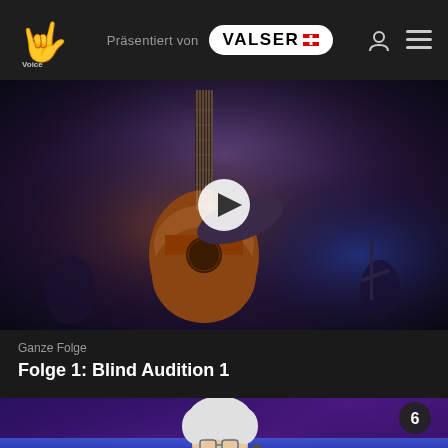Präsentiert von VALSER
[Figure (screenshot): Video thumbnail showing a person playing acoustic guitar on a dimly lit stage, with purple and blue stage lighting. A play button overlay is visible in the center.]
Ganze Folge
Folge 1: Blind Audition 1
[Figure (screenshot): Video thumbnail showing a young man with curly hair playing acoustic guitar on a purple-lit stage, wearing a white shirt. A play button is visible and a badge showing the number 6 is in the top right corner.]